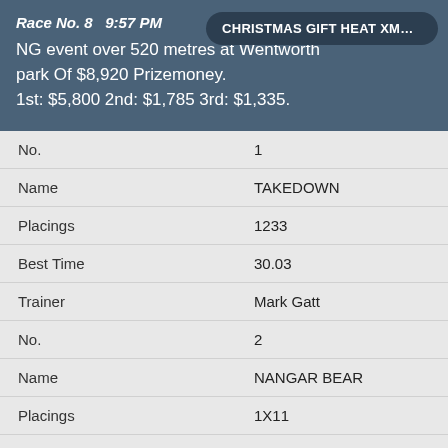Race No. 8   9:57 PM
CHRISTMAS GIFT HEAT XMAS GIFT (G…
NG event over 520 metres at Wentworth park Of $8,920 Prizemoney. 1st: $5,800 2nd: $1,785 3rd: $1,335.
| Field | Value |
| --- | --- |
| No. | 1 |
| Name | TAKEDOWN |
| Placings | 1233 |
| Best Time | 30.03 |
| Trainer | Mark Gatt |
| No. | 2 |
| Name | NANGAR BEAR |
| Placings | 1X11 |
| Best Time | 30.17 |
| Trainer | Dennis Barnes |
| No. | 3 |